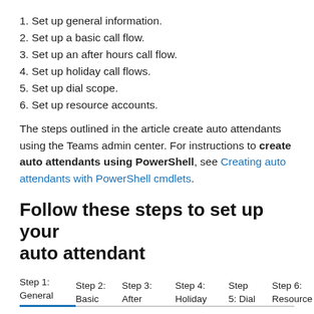1. Set up general information.
2. Set up a basic call flow.
3. Set up an after hours call flow.
4. Set up holiday call flows.
5. Set up dial scope.
6. Set up resource accounts.
The steps outlined in the article create auto attendants using the Teams admin center. For instructions to create auto attendants using PowerShell, see Creating auto attendants with PowerShell cmdlets.
Follow these steps to set up your auto attendant
| Step 1: General | Step 2: Basic | Step 3: After | Step 4: Holiday | Step 5: Dial | Step 6: Resource |
| --- | --- | --- | --- | --- | --- |